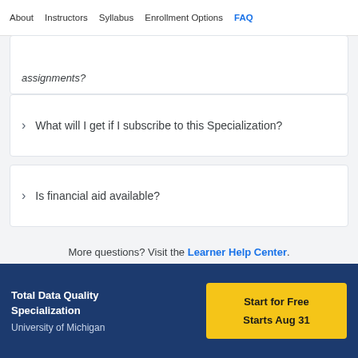About  Instructors  Syllabus  Enrollment Options  FAQ
assignments?
What will I get if I subscribe to this Specialization?
Is financial aid available?
More questions? Visit the Learner Help Center.
Total Data Quality Specialization
University of Michigan
Start for Free
Starts Aug 31